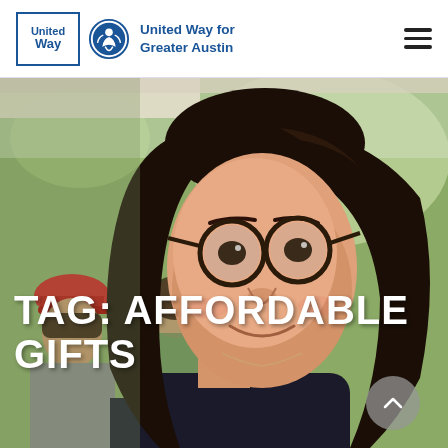United Way | United Way for Greater Austin
[Figure (photo): Close-up photo of a smiling young woman with dark hair and round glasses, wearing a dark top. Background shows outdoor gathering with other people visible including someone in a red cap.]
TAG: AFFORDABLE GIFTS